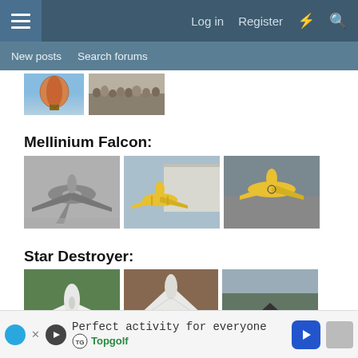Log in  Register
New posts  Search forums
[Figure (photo): Two thumbnail images: a hot air balloon and a crowd scene]
Mellinium Falcon:
[Figure (photo): Three photos related to 'Mellinium Falcon': black-and-white military aircraft top view, yellow biplane near hangar, yellow biplane aerial top view]
Star Destroyer:
[Figure (photo): Three photos related to 'Star Destroyer': white ultralight aircraft on grass (The Paceymobile caption), white flying wing from above, stealth-shaped aircraft on runway]
[Figure (screenshot): Advertisement banner: Perfect activity for everyone - Topgolf]